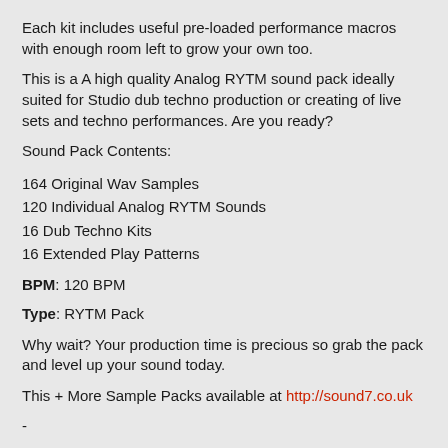Each kit includes useful pre-loaded performance macros with enough room left to grow your own too.
This is a A high quality Analog RYTM sound pack ideally suited for Studio dub techno production or creating of live sets and techno performances. Are you ready?
Sound Pack Contents:
164 Original Wav Samples
120 Individual Analog RYTM Sounds
16 Dub Techno Kits
16 Extended Play Patterns
BPM: 120 BPM
Type: RYTM Pack
Why wait? Your production time is precious so grab the pack and level up your sound today.
This + More Sample Packs available at http://sound7.co.uk
-